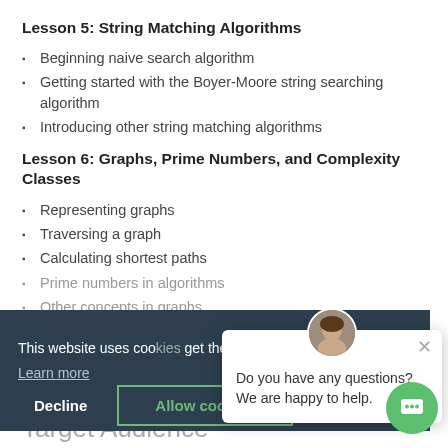Lesson 5: String Matching Algorithms
Beginning naive search algorithm
Getting started with the Boyer-Moore string searching algorithm
Introducing other string matching algorithms
Lesson 6: Graphs, Prime Numbers, and Complexity Classes
Representing graphs
Traversing a graph
Calculating shortest paths
Prime numbers in algorithms
Other concepts in graphs
Other algorithm complexity...
This website uses cookies... get the best experience
Learn more
Decline
Allow cookies
Do you have any questions? We are happy to help.
Target Audience